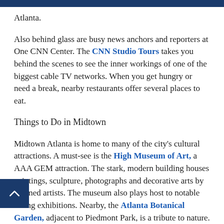Atlanta.
Also behind glass are busy news anchors and reporters at One CNN Center. The CNN Studio Tours takes you behind the scenes to see the inner workings of one of the biggest cable TV networks. When you get hungry or need a break, nearby restaurants offer several places to eat.
Things to Do in Midtown
Midtown Atlanta is home to many of the city's cultural attractions. A must-see is the High Museum of Art, a AAA GEM attraction. The stark, modern building houses paintings, sculpture, photographs and decorative arts by acclaimed artists. The museum also plays host to notable traveling exhibitions. Nearby, the Atlanta Botanical Garden, adjacent to Piedmont Park, is a tribute to nature.